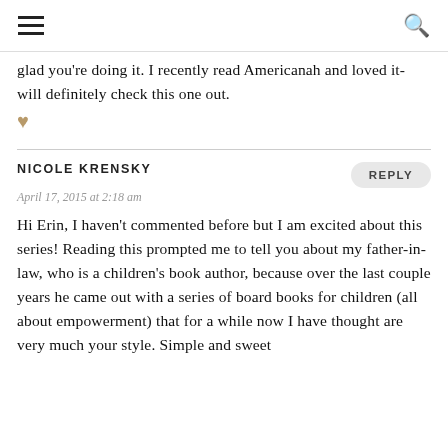≡  🔍
glad you're doing it. I recently read Americanah and loved it- will definitely check this one out. ♥
NICOLE KRENSKY
April 17, 2015 at 2:18 am
Hi Erin, I haven't commented before but I am excited about this series! Reading this prompted me to tell you about my father-in-law, who is a children's book author, because over the last couple years he came out with a series of board books for children (all about empowerment) that for a while now I have thought are very much your style. Simple and sweet